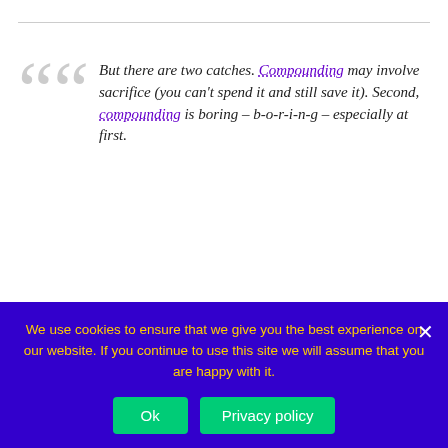But there are two catches. Compounding may involve sacrifice (you can't spend it and still save it). Second, compounding is boring – b-o-r-i-n-g – especially at first.
Russell persuaded his own children of the value of compounding by presenting them with a "bible" of compounding tables.
Here are a couple from the article (I would have preferred a graph myself):
| Age | Investor A Contribution | Investor A Year-End Value | Investor B Contribution | Investor B Year-End Value |
| --- | --- | --- | --- | --- |
We use cookies to ensure that we give you the best experience on our website. If you continue to use this site we will assume that you are happy with it.